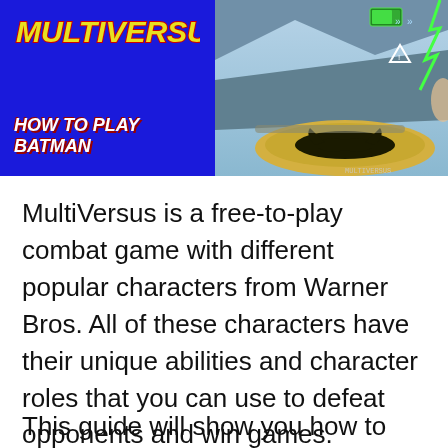[Figure (screenshot): MultiVersus game thumbnail split into two panels: left side shows blue background with MultiVersus logo and text 'HOW TO PLAY BATMAN', right side shows in-game screenshot with Batman stage and character UI elements.]
MultiVersus is a free-to-play combat game with different popular characters from Warner Bros. All of these characters have their unique abilities and character roles that you can use to defeat opponents and win games.
This guide will show you how to play Batman